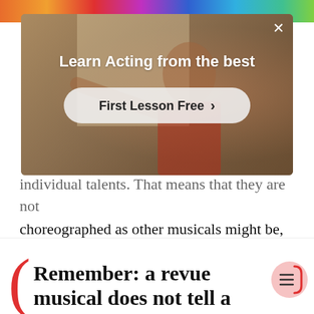[Figure (screenshot): Colorful decorative banner strip at top of page]
[Figure (screenshot): Video advertisement overlay showing a person with text 'Learn Acting from the best' and a 'First Lesson Free' CTA button with close X button]
individual talents. That means that they are not choreographed as other musicals might be, nor are the services of a playwright required, even though there are spoken lines.
Remember: a revue musical does not tell a